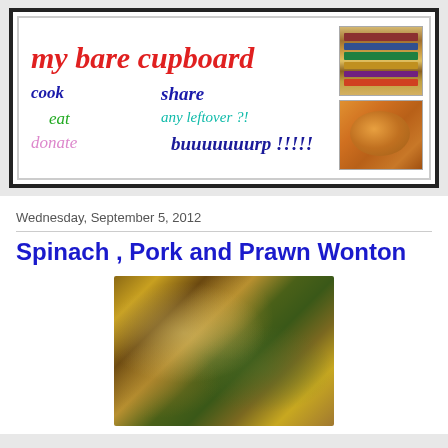[Figure (screenshot): Blog header banner for 'my bare cupboard' with blog title in red italic script, colored keyword words (cook, eat, donate, share, any leftover?!, buuuuuuurp !!!!!) and two photos of books and a pumpkin/gourd]
Wednesday, September 5, 2012
Spinach , Pork and Prawn Wonton
[Figure (photo): Close-up photo of spinach, pork and prawn wontons in sauce]